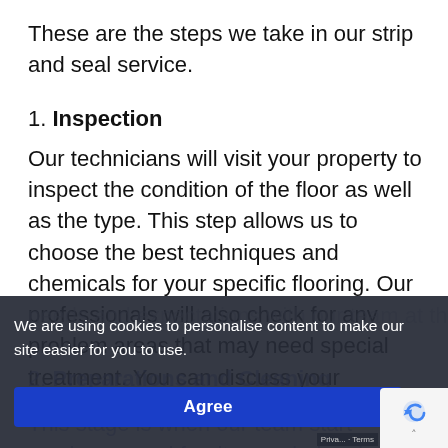These are the steps we take in our strip and seal service.
1. Inspection
Our technicians will visit your property to inspect the condition of the floor as well as the type. This step allows us to choose the best techniques and chemicals for your specific flooring. Our professionals will also check for any problem areas that may need special treatment. You can discuss your needs and expectations with our team at this ti...
2. Preparations and Cleaning
This stage is when our team start moving around furniture or belongings to ensure...
We are using cookies to personalise content to make our site easier for you to use.
Agree